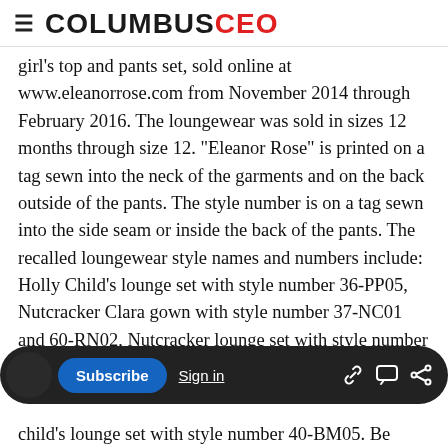COLUMBUS CEO
girl's top and pants set, sold online at www.eleanorrose.com from November 2014 through February 2016. The loungewear was sold in sizes 12 months through size 12. "Eleanor Rose" is printed on a tag sewn into the neck of the garments and on the back outside of the pants. The style number is on a tag sewn into the side seam or inside the back of the pants. The recalled loungewear style names and numbers include: Holly Child's lounge set with style number 36-PP05, Nutcracker Clara gown with style number 37-NC01 and 60-RN02, Nutcracker lounge set with style number 37-NC02, Noel child's lounge
child's lounge set with style number 40-BM05. Be